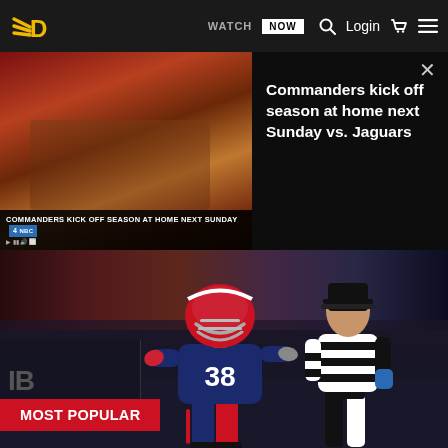[Figure (screenshot): Navigation bar with The Draft Network logo (yellow winged D), WATCH NOW button, search icon, Login text, cart icon, and hamburger menu on dark background]
[Figure (screenshot): Video overlay showing Washington Commanders game footage with lower-third 'COMMANDERS KICK OFF SEASON AT HOME NEXT SUNDAY' and NBC4 badge on left; dark panel on right with close X and headline 'Commanders kick off season at home next Sunday vs. Jaguars']
[Figure (photo): NFL football player wearing New England Patriots jersey number 38 being escorted off field by a referee in black and white stripes; crowd in background. Red 'MOST POPULAR' badge overlaid at bottom left.]
Is Damien Harris In Danger Of Losing RB1 Role To Rhamondre Stevenson?
The Draft Network